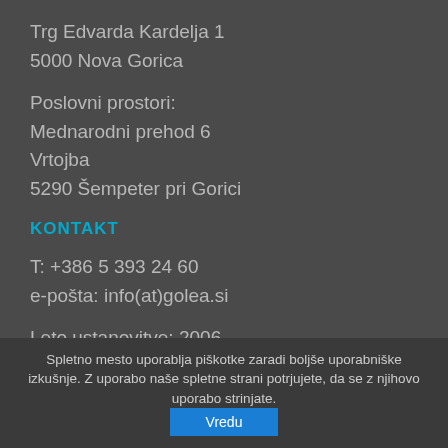Trg Edvarda Kardelja 1
5000 Nova Gorica
Poslovni prostori:
Mednarodni prehod 6
Vrtojba
5290 Šempeter pri Gorici
KONTAKT
T: +386 5 393 24 60
e-pošta: info(at)golea.si
Leto ustanovitve: 2006
Ustanovitelj: Mestna občina Nova Gorica
Status: zavod
Spletno mesto uporablja piškotke zaradi boljše uporabniške izkušnje. Z uporabo naše spletne strani potrjujete, da se z njihovo uporabo strinjate.